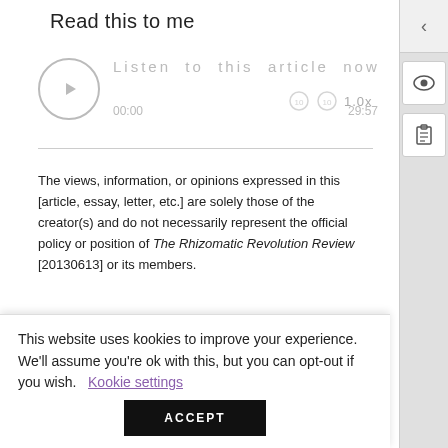Read this to me
[Figure (screenshot): Audio player widget with play button circle, 'Listen to this article now' text, speed control showing 1.0x, time stamps 00:00 and 29:57]
The views, information, or opinions expressed in this [article, essay, letter, etc.] are solely those of the creator(s) and do not necessarily represent the official policy or position of The Rhizomatic Revolution Review [20130613] or its members.
[Figure (infographic): Purple horizontal slider/divider line with circle endpoints]
ABSTRACT
This website uses kookies to improve your experience. We'll assume you're ok with this, but you can opt-out if you wish.  Kookie settings
ACCEPT